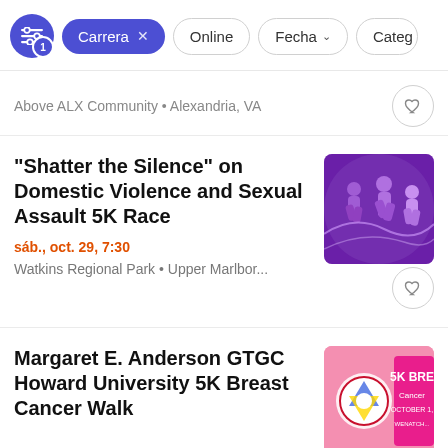Carrera × | Online | Fecha | Categ
Above ALX Community • Alexandria, VA
"Shatter the Silence" on Domestic Violence and Sexual Assault 5K Race
sáb., oct. 29, 7:30
Watkins Regional Park • Upper Marlbor...
Margaret E. Anderson GTGC Howard University 5K Breast Cancer Walk